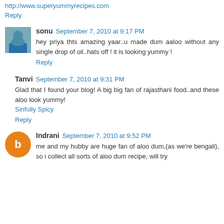http://www.superyummyrecipes.com
Reply
sonu  September 7, 2010 at 9:17 PM
hey priya thts amazing yaar..u made dum aaloo without any single drop of oil..hats off ! it is looking yummy !
Reply
Tanvi  September 7, 2010 at 9:31 PM
Glad that I found your blog! A big big fan of rajasthani food..and these aloo look yummy!
Sinfully Spicy
Reply
Indrani  September 7, 2010 at 9:52 PM
me and my hubby are huge fan of aloo dum,(as we're bengali), so i collect all sorts of aloo dum recipe, will try